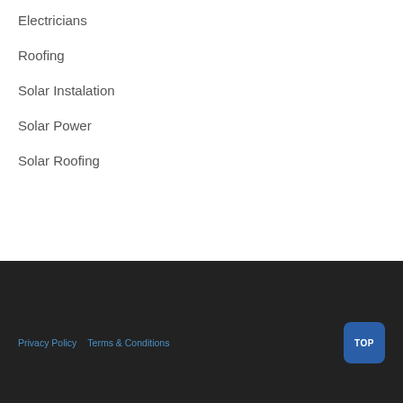Electricians
Roofing
Solar Instalation
Solar Power
Solar Roofing
Privacy Policy   Terms & Conditions   TOP